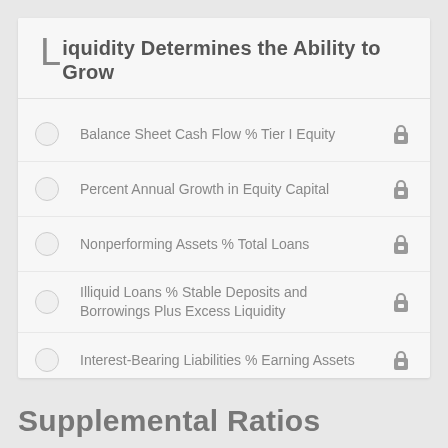Liquidity Determines the Ability to Grow
Balance Sheet Cash Flow % Tier I Equity
Percent Annual Growth in Equity Capital
Nonperforming Assets % Total Loans
Illiquid Loans % Stable Deposits and Borrowings Plus Excess Liquidity
Interest-Bearing Liabilities % Earning Assets
Supplemental Ratios